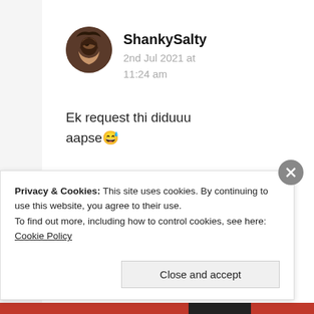[Figure (photo): Circular profile photo of user ShankySalty showing a person with long dark hair]
ShankySalty
2nd Jul 2021 at 11:24 am
Ek request thi diduuu aapse 😅
★ Liked by 1 person
Privacy & Cookies: This site uses cookies. By continuing to use this website, you agree to their use.
To find out more, including how to control cookies, see here: Cookie Policy